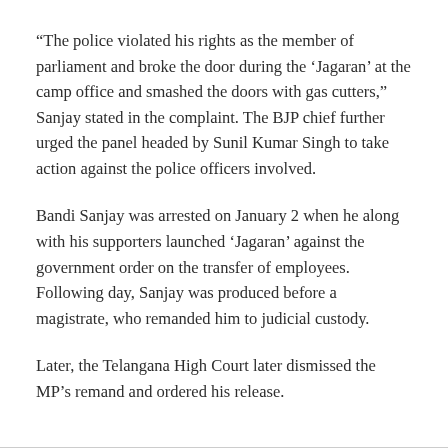“The police violated his rights as the member of parliament and broke the door during the ‘Jagaran’ at the camp office and smashed the doors with gas cutters,” Sanjay stated in the complaint. The BJP chief further urged the panel headed by Sunil Kumar Singh to take action against the police officers involved.
Bandi Sanjay was arrested on January 2 when he along with his supporters launched ‘Jagaran’ against the government order on the transfer of employees. Following day, Sanjay was produced before a magistrate, who remanded him to judicial custody.
Later, the Telangana High Court later dismissed the MP’s remand and ordered his release.